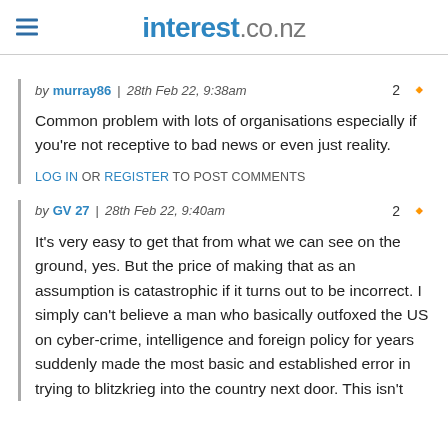interest.co.nz
by murray86 | 28th Feb 22, 9:38am
Common problem with lots of organisations especially if you're not receptive to bad news or even just reality.
LOG IN OR REGISTER TO POST COMMENTS
by GV 27 | 28th Feb 22, 9:40am
It's very easy to get that from what we can see on the ground, yes. But the price of making that as an assumption is catastrophic if it turns out to be incorrect. I simply can't believe a man who basically outfoxed the US on cyber-crime, intelligence and foreign policy for years suddenly made the most basic and established error in trying to blitzkrieg into the country next door. This isn't